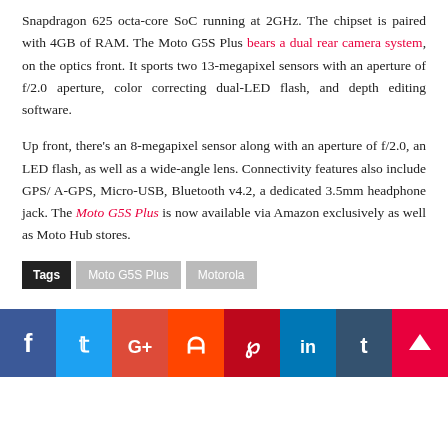Snapdragon 625 octa-core SoC running at 2GHz. The chipset is paired with 4GB of RAM. The Moto G5S Plus bears a dual rear camera system, on the optics front. It sports two 13-megapixel sensors with an aperture of f/2.0 aperture, color correcting dual-LED flash, and depth editing software.
Up front, there's an 8-megapixel sensor along with an aperture of f/2.0, an LED flash, as well as a wide-angle lens. Connectivity features also include GPS/ A-GPS, Micro-USB, Bluetooth v4.2, a dedicated 3.5mm headphone jack. The Moto G5S Plus is now available via Amazon exclusively as well as Moto Hub stores.
Tags: Moto G5S Plus, Motorola
[Figure (infographic): Social media share icons row: Facebook, Twitter, Google+, Reddit, Pinterest, LinkedIn, Tumblr, WhatsApp]